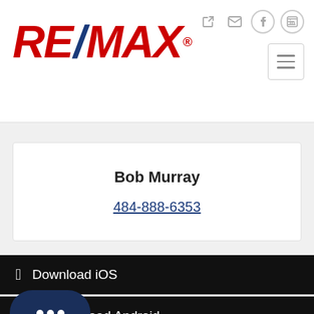[Figure (logo): RE/MAX logo in red and blue with registered trademark symbol]
Bob Murray
484-888-6353
Download iOS
load Android